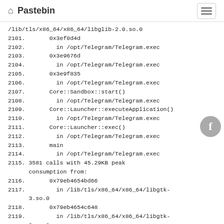Pastebin
/lib/tls/x86_64/x86_64/libglib-2.0.so.0
2101.       0x3ef0d4d
2102.         in /opt/Telegram/Telegram.exec
2103.       0x3e9676d
2104.         in /opt/Telegram/Telegram.exec
2105.       0x3e9f835
2106.         in /opt/Telegram/Telegram.exec
2107.       Core::Sandbox::start()
2108.         in /opt/Telegram/Telegram.exec
2109.       Core::Launcher::executeApplication()
2110.         in /opt/Telegram/Telegram.exec
2111.       Core::Launcher::exec()
2112.         in /opt/Telegram/Telegram.exec
2113.       main
2114.         in /opt/Telegram/Telegram.exec
2115. 3581 calls with 45.29KB peak
      consumption from:
2116.       0x79eb4654bd66
2117.         in /lib/tls/x86_64/x86_64/libgtk-3.so.0
2118.       0x79eb4654c648
2119.         in /lib/tls/x86_64/x86_64/libgtk-3.so.0